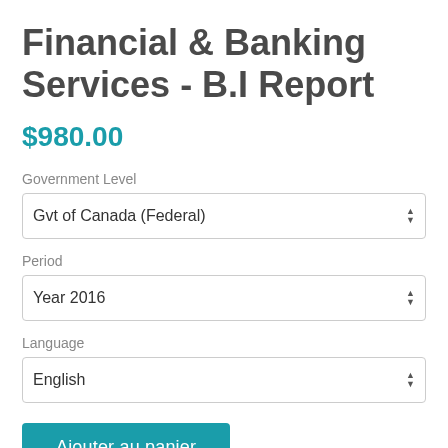Financial & Banking Services - B.I Report
$980.00
Government Level
Gvt of Canada (Federal)
Period
Year 2016
Language
English
Ajouter au panier